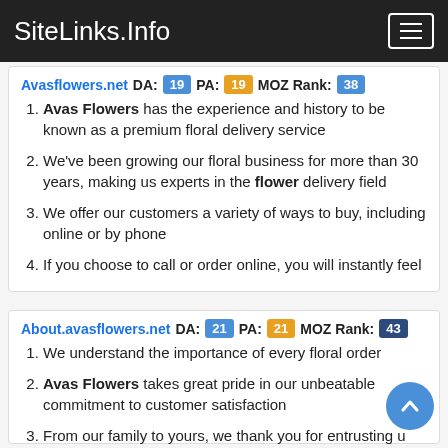SiteLinks.Info
Avasflowers.net  DA: 19  PA: 19  MOZ Rank: 38
Avas Flowers has the experience and history to be known as a premium floral delivery service
We've been growing our floral business for more than 30 years, making us experts in the flower delivery field
We offer our customers a variety of ways to buy, including online or by phone
If you choose to call or order online, you will instantly feel
About.avasflowers.net  DA: 21  PA: 21  MOZ Rank: 43
We understand the importance of every floral order
Avas Flowers takes great pride in our unbeatable commitment to customer satisfaction
From our family to yours, we thank you for entrusting us to deliver your flowers